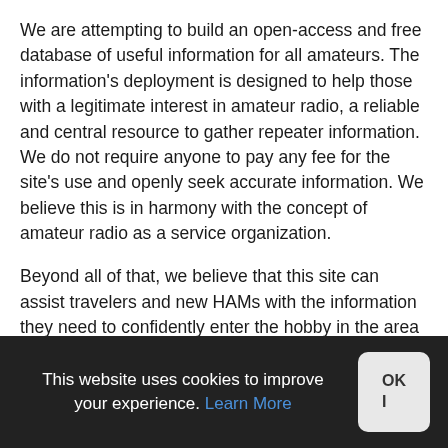We are attempting to build an open-access and free database of useful information for all amateurs. The information's deployment is designed to help those with a legitimate interest in amateur radio, a reliable and central resource to gather repeater information. We do not require anyone to pay any fee for the site's use and openly seek accurate information. We believe this is in harmony with the concept of amateur radio as a service organization.
Beyond all of that, we believe that this site can assist travelers and new HAMs with the information they need to confidently enter the hobby in the area served. Travelers appreciate the ability to program reliable repeater data into their radios to increase their trips' safety and pleasure. New HAMs appreciate a quick way to get the information
This website uses cookies to improve your experience. Learn More